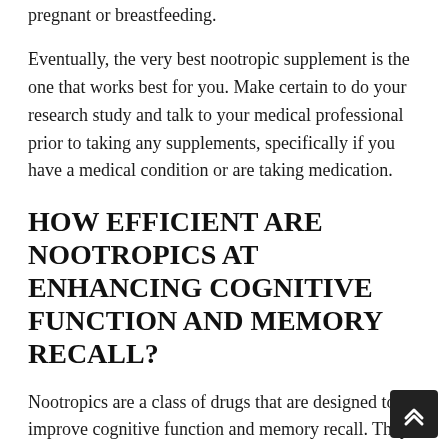pregnant or breastfeeding.
Eventually, the very best nootropic supplement is the one that works best for you. Make certain to do your research study and talk to your medical professional prior to taking any supplements, specifically if you have a medical condition or are taking medication.
HOW EFFICIENT ARE NOOTROPICS AT ENHANCING COGNITIVE FUNCTION AND MEMORY RECALL?
Nootropics are a class of drugs that are designed to improve cognitive function and memory recall. They have actually been shown to be efficient in some research studies, however the proof is still